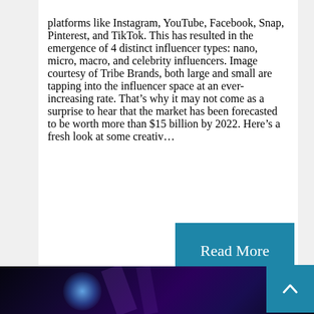platforms like Instagram, YouTube, Facebook, Snap, Pinterest, and TikTok. This has resulted in the emergence of 4 distinct influencer types: nano, micro, macro, and celebrity influencers. Image courtesy of Tribe Brands, both large and small are tapping into the influencer space at an ever-increasing rate. That's why it may not come as a surprise to hear that the market has been forecasted to be worth more than $15 billion by 2022. Here's a fresh look at some creativ...
[Figure (other): A teal/blue 'Read More' button]
[Figure (photo): A dark image with blue and purple lighting, likely a concert or event scene]